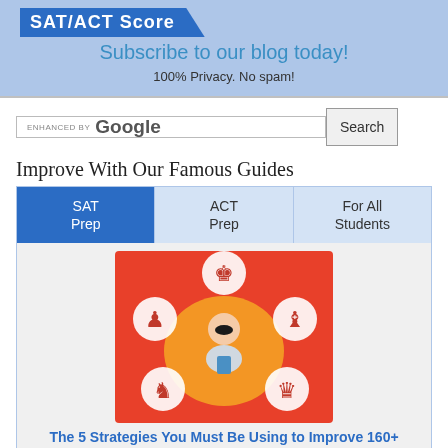SAT/ACT Score
Subscribe to our blog today!
100% Privacy. No spam!
[Figure (screenshot): Google enhanced search bar with Search button]
Improve With Our Famous Guides
[Figure (infographic): Tab navigation with SAT Prep (active/blue), ACT Prep, For All Students tabs, followed by a chess strategy infographic image showing a person surrounded by chess pieces on red/orange background, with title 'The 5 Strategies You Must Be Using to Improve 160+ SAT Points' and a partial second image showing '2400']